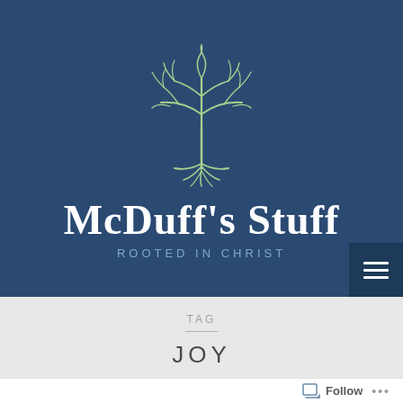[Figure (logo): McDuff's Stuff logo: a stylized green tree with roots on a dark navy blue background, above the text 'McDuff's Stuff' in white serif font and 'ROOTED IN CHRIST' in light blue spaced lettering]
TAG
JOY
Follow ...